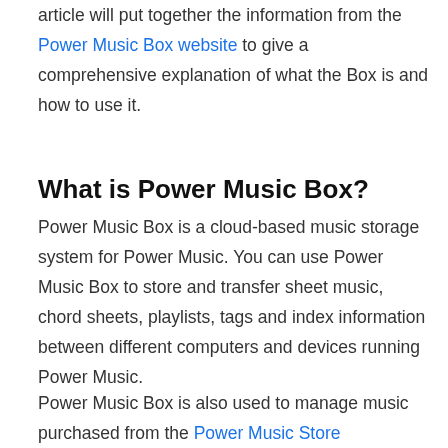article will put together the information from the Power Music Box website to give a comprehensive explanation of what the Box is and how to use it.
What is Power Music Box?
Power Music Box is a cloud-based music storage system for Power Music. You can use Power Music Box to store and transfer sheet music, chord sheets, playlists, tags and index information between different computers and devices running Power Music.
Power Music Box is also used to manage music purchased from the Power Music Store